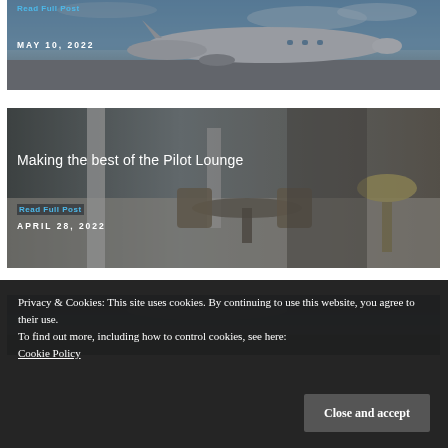[Figure (photo): Private jet on tarmac with blue sky, date overlay MAY 10, 2022 and Read Full Post link]
[Figure (photo): Pilot lounge interior with modern chairs and bar stools, titled Making the best of the Pilot Lounge, dated APRIL 28, 2022]
[Figure (photo): Partial view of another article card at bottom]
Privacy & Cookies: This site uses cookies. By continuing to use this website, you agree to their use.
To find out more, including how to control cookies, see here:
Cookie Policy
Close and accept